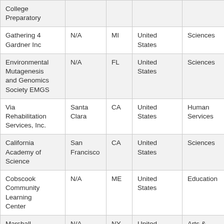| College Preparatory |  |  |  |  |
| Gathering 4 Gardner Inc | N/A | MI | United States | Sciences |
| Environmental Mutagenesis and Genomics Society EMGS | N/A | FL | United States | Sciences |
| Via Rehabilitation Services, Inc. | Santa Clara | CA | United States | Human Services |
| California Academy of Science | San Francisco | CA | United States | Sciences |
| Cobscook Community Learning Center | N/A | ME | United States | Education |
| Marshall Project Inc | N/A | NY | United States | Arts & Culture |
| Washington | N/A | MO | United States | Education |